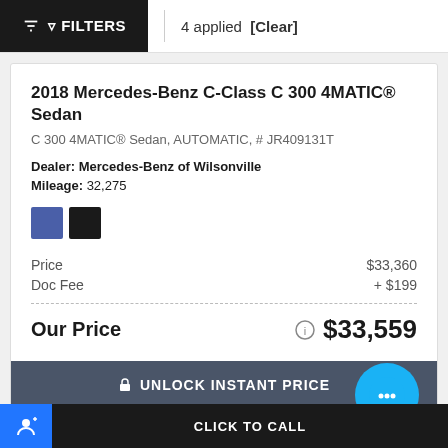FILTERS  4 applied [Clear]
2018 Mercedes-Benz C-Class C 300 4MATIC® Sedan
C 300 4MATIC® Sedan, AUTOMATIC, # JR409131T
Dealer: Mercedes-Benz of Wilsonville
Mileage: 32,275
|  |  |
| --- | --- |
| Price | $33,360 |
| Doc Fee | + $199 |
| Our Price | $33,559 |
UNLOCK INSTANT PRICE
CLICK TO CALL